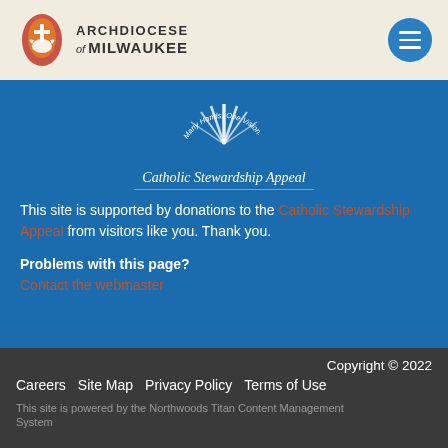[Figure (logo): Archdiocese of Milwaukee logo with flame and dove icon and hamburger menu button]
[Figure (logo): Catholic Stewardship Appeal logo with rays of light and curved text 'Many Hands, One Vision.']
This site is supported by donations to the Catholic Stewardship Appeal from visitors like you. Thank you.
Problems with this page?
Contact the webmaster
Copyright © 2022
Careers  Site Map  Privacy Policy  Terms of Use
This site is powered by the Northwoods Titan Content Management System